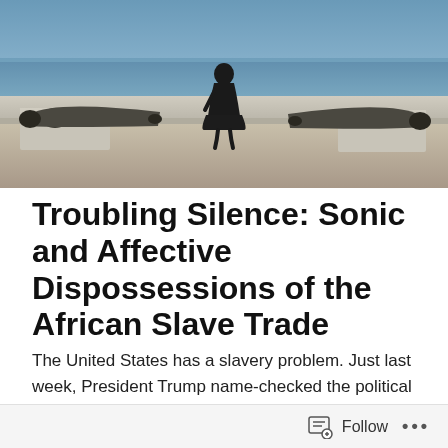[Figure (photo): A person in a black dress standing between two large historic cannons on a fortification wall, with the ocean and blue sky in the background.]
Troubling Silence: Sonic and Affective Dispossessions of the African Slave Trade
The United States has a slavery problem. Just last week, President Trump name-checked the political right's current favorite past-president Andrew Jackson, suggesting that
Follow ...